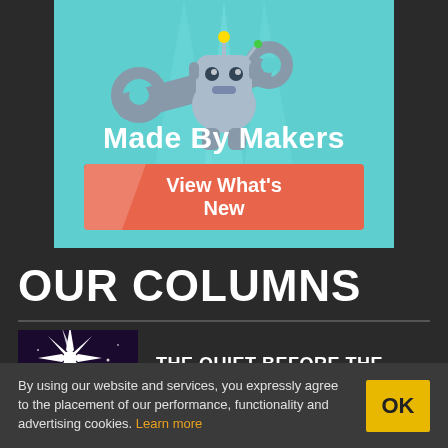[Figure (illustration): Advertisement banner with a cartoon robot dog holding a wrench on a teal background, with 'Made By Makers' text and an orange 'View What's New' button]
OUR COLUMNS
[Figure (illustration): Thumbnail image showing a bright starburst over a dark purple galaxy/cosmic background]
THE QUIET BEFORE THE STORM?
By using our website and services, you expressly agree to the placement of our performance, functionality and advertising cookies. Learn more